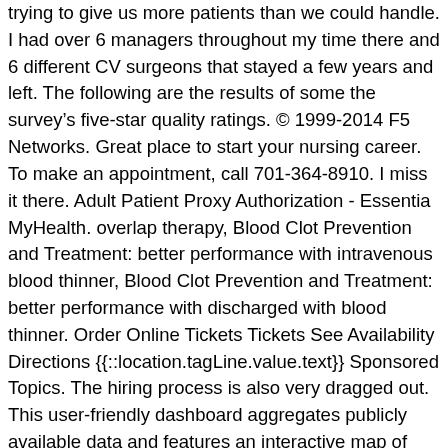trying to give us more patients than we could handle. I had over 6 managers throughout my time there and 6 different CV surgeons that stayed a few years and left. The following are the results of some the surveyâs five-star quality ratings. © 1999-2014 F5 Networks. Great place to start your nursing career. To make an appointment, call 701-364-8910. I miss it there. Adult Patient Proxy Authorization - Essentia MyHealth. overlap therapy, Blood Clot Prevention and Treatment: better performance with intravenous blood thinner, Blood Clot Prevention and Treatment: better performance with discharged with blood thinner. Order Online Tickets Tickets See Availability Directions {{::location.tagLine.value.text}} Sponsored Topics. The hiring process is also very dragged out. This user-friendly dashboard aggregates publicly available data and features an interactive map of Minnesota, North Dakota and Wisconsin. Essentia MyHealth Activation Code. Get directions, reviews and information for Essentia Health Clinics in Fargo, ND. This facility is a ... Essentia Health, Fargo 2000 32nd Ave S Fargo ND 58104. My manager is